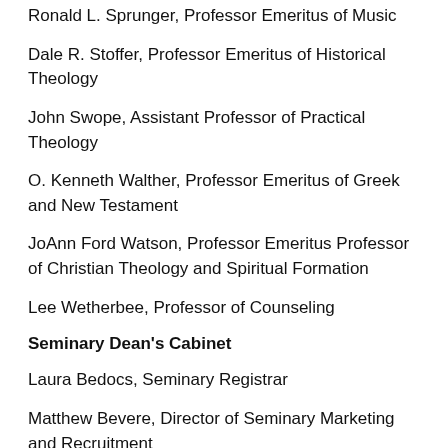Ronald L. Sprunger, Professor Emeritus of Music
Dale R. Stoffer, Professor Emeritus of Historical Theology
John Swope, Assistant Professor of Practical Theology
O. Kenneth Walther, Professor Emeritus of Greek and New Testament
JoAnn Ford Watson, Professor Emeritus Professor of Christian Theology and Spiritual Formation
Lee Wetherbee, Professor of Counseling
Seminary Dean's Cabinet
Laura Bedocs, Seminary Registrar
Matthew Bevere, Director of Seminary Marketing and Recruitment